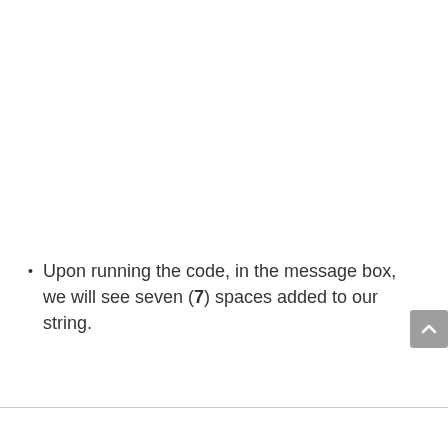Upon running the code, in the message box, we will see seven (7) spaces added to our string.